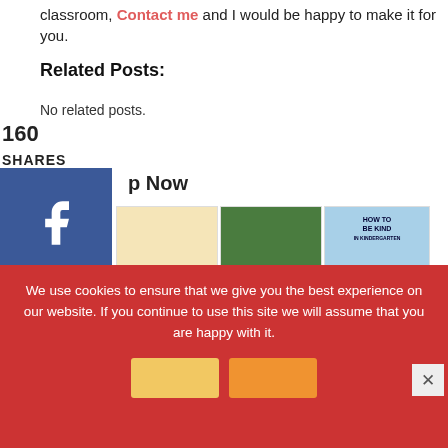classroom, Contact me and I would be happy to make it for you.
Related Posts:
No related posts.
160
SHARES
p Now
[Figure (photo): Three kindergarten book covers: 'Kindergarten, Here I Come!', 'KINDergarten', and 'How to Be Kind in Kindergarten']
Kindergarten, Here I...  KINDergarten:  How to Be Kind in
We use cookies to ensure that we give you the best experience on our website. If you continue to use this site we will assume that you are happy with it.